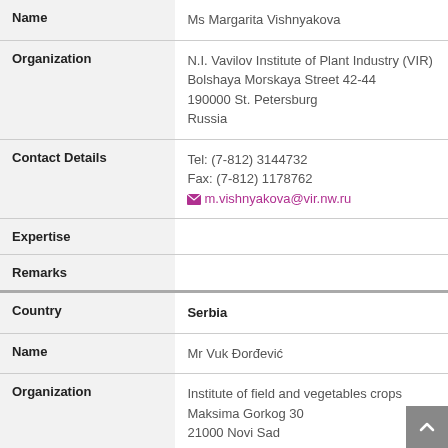| Field | Value |
| --- | --- |
| Name | Ms Margarita Vishnyakova |
| Organization | N.I. Vavilov Institute of Plant Industry (VIR)
Bolshaya Morskaya Street 42-44
190000 St. Petersburg
Russia |
| Contact Details | Tel: (7-812) 3144732
Fax: (7-812) 1178762
m.vishnyakova@vir.nw.ru |
| Expertise |  |
| Remarks |  |
| Country | Serbia |
| Name | Mr Vuk Đorđević |
| Organization | Institute of field and vegetables crops
Maksima Gorkog 30
21000 Novi Sad
Serbia |
| Contact Details | Tel: (381) 21 4898 489
vuk.djordjevic@ifvcns.ns.ac.rs |